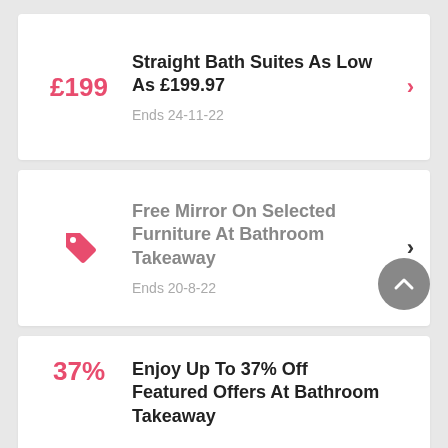£199
Straight Bath Suites As Low As £199.97
Ends 24-11-22
[Figure (illustration): Pink tag icon]
Free Mirror On Selected Furniture At Bathroom Takeaway
Ends 20-8-22
37%
Enjoy Up To 37% Off Featured Offers At Bathroom Takeaway